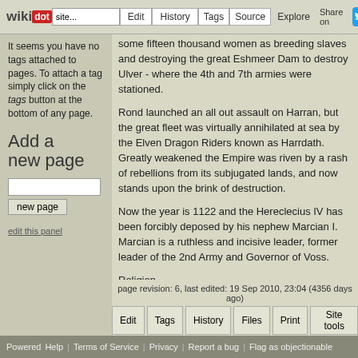wikidot | Edit | History | Tags | Source | Explore | Share on [twitter]
It seems you have no tags attached to pages. To attach a tag simply click on the tags button at the bottom of any page.
Add a new page
some fifteen thousand women as breeding slaves and destroying the great Eshmeer Dam to destroy Ulver - where the 4th and 7th armies were stationed.

Rond launched an all out assault on Harran, but the great fleet was virtually annihilated at sea by the Elven Dragon Riders known as Harrdath. Greatly weakened the Empire was riven by a rash of rebellions from its subjugated lands, and now stands upon the brink of destruction.

Now the year is 1122 and the Hereclecius IV has been forcibly deposed by his nephew Marcian I. Marcian is a ruthless and incisive leader, former leader of the 2nd Army and Governor of Voss.
Religion
Elves
Titans
page revision: 6, last edited: 19 Sep 2010, 23:04 (4356 days ago)
Edit | Tags | History | Files | Print | Site tools | + Options
Powered Help | Terms of Service | Privacy | Report a bug | Flag as objectionable